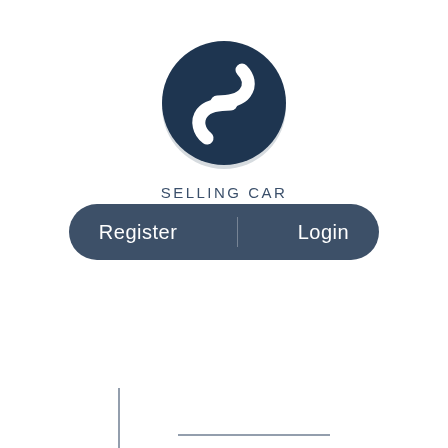[Figure (logo): Circular dark navy logo with a stylized white S letter shape inside, representing Selling Car Privately brand]
SELLING CAR PRIVATELY
[Figure (other): UI input field placeholder: a vertical line (text cursor) on the left and a horizontal underline on the right, indicating a text input area]
[Figure (other): Dark navy pill-shaped button bar with two labels: Register on the left and Login on the right]